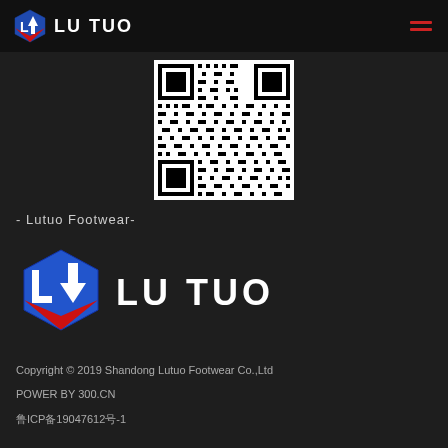LU TUO
[Figure (other): QR code for Lutuo Footwear WeChat or website]
- Lutuo Footwear-
[Figure (logo): LU TUO company logo - large version with blue and red diamond shield icon and white LU TUO text]
Copyright © 2019 Shandong Lutuo Footwear Co.,Ltd
POWER BY 300.CN
鲁ICP备19047612号-1